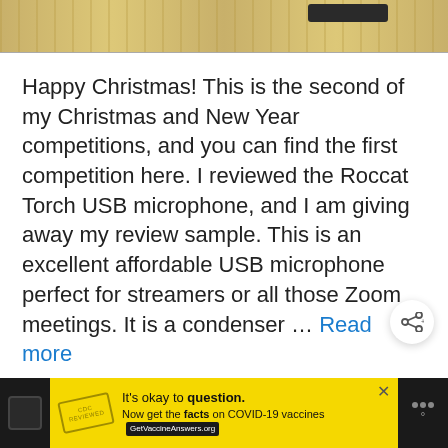[Figure (photo): Partial photo of a wooden surface (light wood grain texture) with a dark object visible in the upper right corner, cropped at the top of the page.]
Happy Christmas! This is the second of my Christmas and New Year competitions, and you can find the first competition here. I reviewed the Roccat Torch USB microphone, and I am giving away my review sample. This is an excellent affordable USB microphone perfect for streamers or all those Zoom meetings. It is a condenser … Read more
[Figure (infographic): Advertisement banner: yellow background with 'It's okay to question.' headline and 'Now get the facts on COVID-19 vaccines' with GetVaccineAnswers.org link. Flanked by black sidebar panels.]